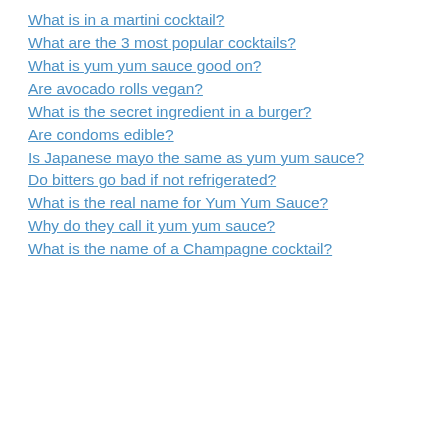What is in a martini cocktail?
What are the 3 most popular cocktails?
What is yum yum sauce good on?
Are avocado rolls vegan?
What is the secret ingredient in a burger?
Are condoms edible?
Is Japanese mayo the same as yum yum sauce?
Do bitters go bad if not refrigerated?
What is the real name for Yum Yum Sauce?
Why do they call it yum yum sauce?
What is the name of a Champagne cocktail?